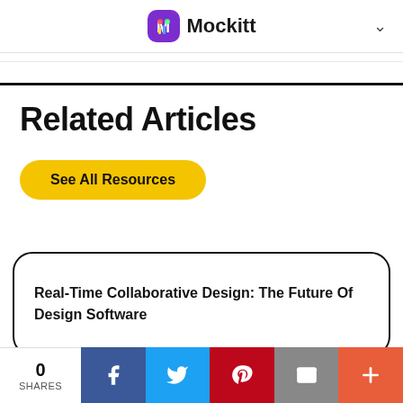Mockitt
Related Articles
See All Resources
Real-Time Collaborative Design: The Future Of Design Software
0 SHARES